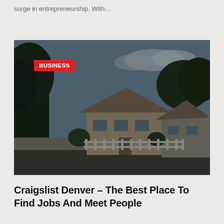surge in entrepreneurship. With…
[Figure (photo): Exterior photo of a suburban residential house with trees, a white fence, and a dark overlay. A red BUSINESS badge is overlaid in the upper-left corner.]
Craigslist Denver – The Best Place To Find Jobs And Meet People